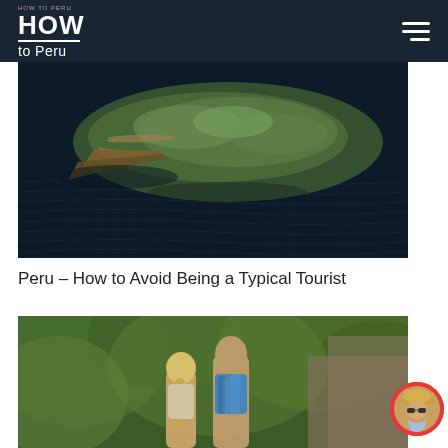HOW to Peru
[Figure (photo): Aerial drone view of floating reed islands on a dark lake, showing traditional reed boat structures and vegetation from above]
Peru – How to Avoid Being a Typical Tourist
[Figure (photo): Two tourists seen from behind looking at lush green jungle/forest scenery - a blonde woman and a man in a blue tie-dye shirt]